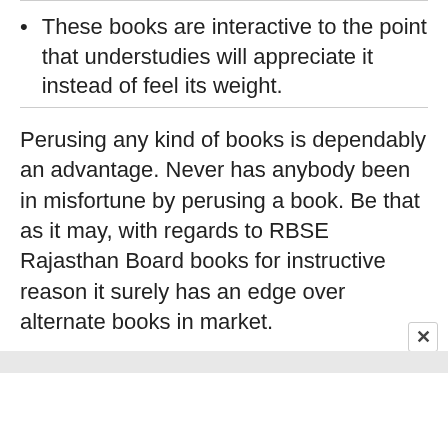These books are interactive to the point that understudies will appreciate it instead of feel its weight.
Perusing any kind of books is dependably an advantage. Never has anybody been in misfortune by perusing a book. Be that as it may, with regards to RBSE Rajasthan Board books for instructive reason it surely has an edge over alternate books in market.